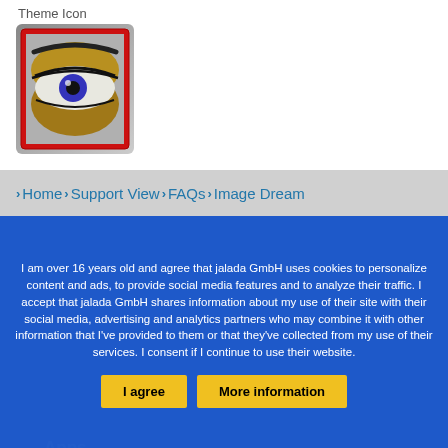Theme Icon
[Figure (illustration): Theme icon showing a stylized eye with golden/yellow eyeshadow and blue iris, framed with a red border on a gray gradient background]
Home > Support View > FAQs > Image Dream
Apps
I am over 16 years old and agree that jalada GmbH uses cookies to personalize content and ads, to provide social media features and to analyze their traffic. I accept that jalada GmbH shares information about my use of their site with their social media, advertising and analytics partners who may combine it with other information that I've provided to them or that they've collected from my use of their services. I consent if I continue to use their website.
I agree   More information